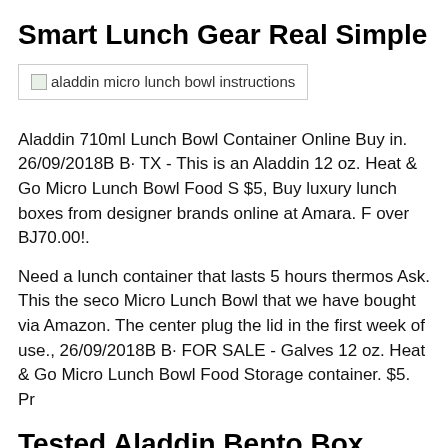Smart Lunch Gear Real Simple
[Figure (photo): Broken image placeholder with alt text: aladdin micro lunch bowl instructions]
Aladdin 710ml Lunch Bowl Container Online Buy in. 26/09/2018B B· TX - This is an Aladdin 12 oz. Heat & Go Micro Lunch Bowl Food S $5, Buy luxury lunch boxes from designer brands online at Amara. F over BJ70.00!.
Need a lunch container that lasts 5 hours thermos Ask. This the seco Micro Lunch Bowl that we have bought via Amazon. The center plug the lid in the first week of use., 26/09/2018B B· FOR SALE - Galves 12 oz. Heat & Go Micro Lunch Bowl Food Storage container. $5. Pr
Tested Aladdin Bento Box Welcome to my world
[Figure (photo): Broken image placeholder with alt text: aladdin micro lunch bowl instructions]
School Lunches EP 12 YouTube, About Us. BACKGROUND: Wol